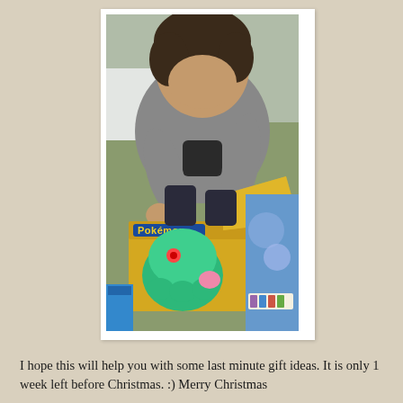[Figure (photo): A young child with dark hair wearing a gray t-shirt, leaning over and opening a Pokemon toy box. The box shows a green Pokemon figure and the Pokemon logo. The child is sitting on what appears to be a colorful game board or mat.]
I hope this will help you with some last minute gift ideas. It is only 1 week left before Christmas. :) Merry Christmas